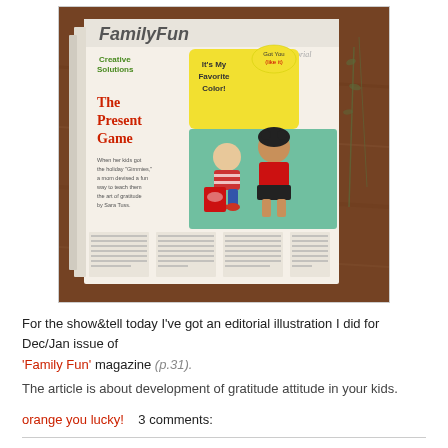[Figure (photo): Photo of an open magazine showing FamilyFun editorial page with 'The Present Game' article featuring illustrated children characters, on a wooden table background]
For the show&tell today I've got an editorial illustration I did for Dec/Jan issue of 'Family Fun' magazine (p.31).
The article is about development of gratitude attitude in your kids.
orange you lucky!    3 comments:
Monday, December 7, 2009
holiday labels...